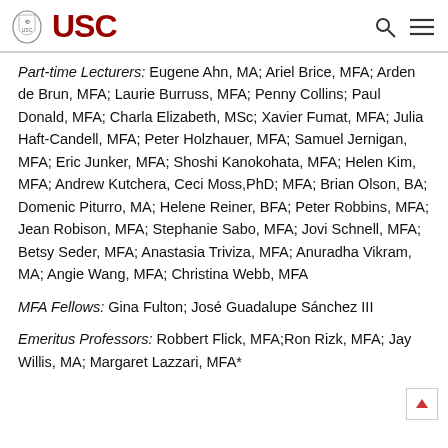USC
Part-time Lecturers: Eugene Ahn, MA; Ariel Brice, MFA; Arden de Brun, MFA; Laurie Burruss, MFA; Penny Collins; Paul Donald, MFA; Charla Elizabeth, MSc; Xavier Fumat, MFA; Julia Haft-Candell, MFA; Peter Holzhauer, MFA; Samuel Jernigan, MFA; Eric Junker, MFA; Shoshi Kanokohata, MFA; Helen Kim, MFA; Andrew Kutchera, Ceci Moss, PhD; MFA; Brian Olson, BA; Domenic Piturro, MA; Helene Reiner, BFA; Peter Robbins, MFA; Jean Robison, MFA; Stephanie Sabo, MFA; Jovi Schnell, MFA; Betsy Seder, MFA; Anastasia Triviza, MFA; Anuradha Vikram, MA; Angie Wang, MFA; Christina Webb, MFA
MFA Fellows: Gina Fulton; José Guadalupe Sánchez III
Emeritus Professors: Robbert Flick, MFA; Ron Rizk, MFA; Jay Willis, MA; Margaret Lazzari, MFA*